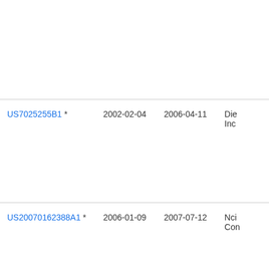| US7025255B1 * | 2002-02-04 | 2006-04-11 | Die
Inc |
| US20070162388A1 * | 2006-01-09 | 2007-07-12 | Nci
Con |
| US20070265948A1 * | 2005-11-14 | 2007-11-15 | Tho
Ma |